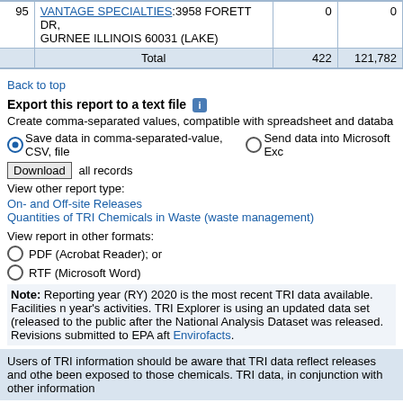| # | Facility |  |  |
| --- | --- | --- | --- |
| 95 | VANTAGE SPECIALTIES:3958 FORETT DR, GURNEE ILLINOIS 60031 (LAKE) | 0 | 0 |
|  | Total | 422 | 121,782 |
Back to top
Export this report to a text file [i]
Create comma-separated values, compatible with spreadsheet and databa...
Save data in comma-separated-value, CSV, file   Send data into Microsoft Exc...
Download all records
View other report type:
On- and Off-site Releases
Quantities of TRI Chemicals in Waste (waste management)
View report in other formats:
PDF (Acrobat Reader); or
RTF (Microsoft Word)
Note: Reporting year (RY) 2020 is the most recent TRI data available. Facilities m... year's activities. TRI Explorer is using an updated data set (released to the public... after the National Analysis Dataset was released. Revisions submitted to EPA aft... Envirofacts.
Users of TRI information should be aware that TRI data reflect releases and othe... been exposed to those chemicals. TRI data, in conjunction with other information...